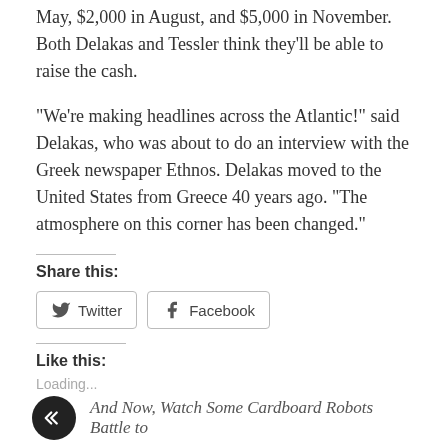May, $2,000 in August, and $5,000 in November. Both Delakas and Tessler think they'll be able to raise the cash.
“We’re making headlines across the Atlantic!” said Delakas, who was about to do an interview with the Greek newspaper Ethnos. Delakas moved to the United States from Greece 40 years ago. “The atmosphere on this corner has been changed.”
Share this:
Twitter  Facebook
Like this:
Loading...
And Now, Watch Some Cardboard Robots Battle to